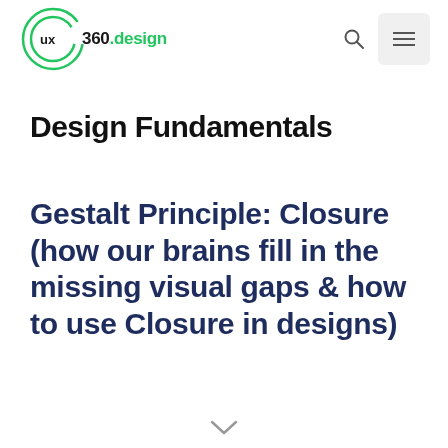ux 360.design
Design Fundamentals
Gestalt Principle: Closure (how our brains fill in the missing visual gaps & how to use Closure in designs)